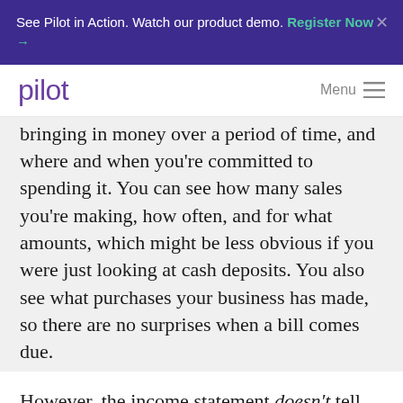See Pilot in Action. Watch our product demo. Register Now →
pilot   Menu
bringing in money over a period of time, and where and when you're committed to spending it. You can see how many sales you're making, how often, and for what amounts, which might be less obvious if you were just looking at cash deposits. You also see what purchases your business has made, so there are no surprises when a bill comes due.
However, the income statement doesn't tell you